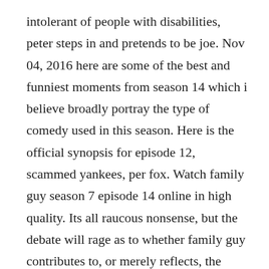intolerant of people with disabilities, peter steps in and pretends to be joe. Nov 04, 2016 here are some of the best and funniest moments from season 14 which i believe broadly portray the type of comedy used in this season. Here is the official synopsis for episode 12, scammed yankees, per fox. Watch family guy season 7 episode 14 online in high quality. Its all raucous nonsense, but the debate will rage as to whether family guy contributes to, or merely reflects, the demise of civility.